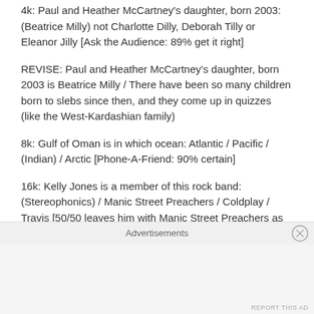4k: Paul and Heather McCartney's daughter, born 2003: (Beatrice Milly) not Charlotte Dilly, Deborah Tilly or Eleanor Jilly [Ask the Audience: 89% get it right]
REVISE: Paul and Heather McCartney's daughter, born 2003 is Beatrice Milly / There have been so many children born to slebs since then, and they come up in quizzes (like the West-Kardashian family)
8k: Gulf of Oman is in which ocean: Atlantic / Pacific / (Indian) / Arctic [Phone-A-Friend: 90% certain]
16k: Kelly Jones is a member of this rock band: (Stereophonics) / Manic Street Preachers / Coldplay / Travis [50/50 leaves him with Manic Street Preachers as
Advertisements